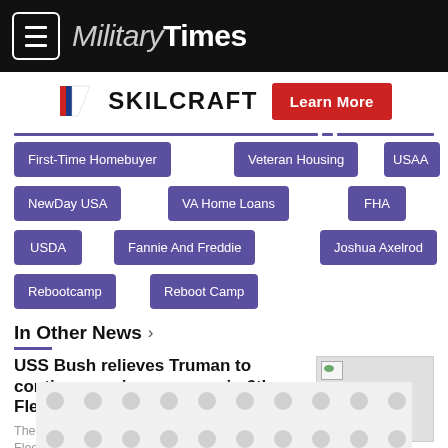MilitaryTimes
[Figure (logo): SKILCRAFT logo with red/blue diagonal flag icon and a red Learn More button]
First-Time Homebuyer
Veteran Housing
USAA
NewDay USA
VA Home Loans
FHA
USDA
Fannie And Freddie
Joshua Axelrod
Rebootcamp
Reboot Camp
In Other News >
USS Bush relieves Truman to continue carrier presence in 6th Fleet
The Bush will work with allies and partners in the 6th Fleet for the duration of its
[Figure (photo): Article thumbnail image placeholder]
[Figure (infographic): Bottom advertisement banner with dots/circles pattern]